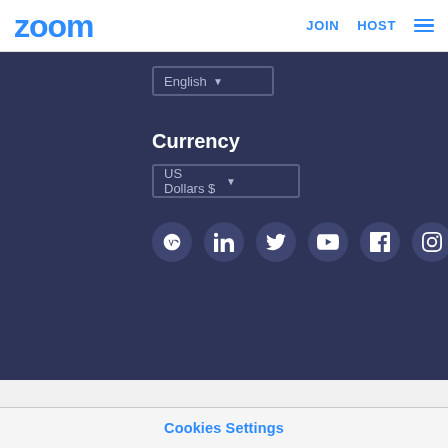zoom   JOIN   HOST
English ▼
Currency
US Dollars $ ▼
[Figure (other): Social media icon row: WordPress, LinkedIn, Twitter, YouTube, Facebook, Instagram — white icons on dark circular backgrounds]
Copyright © 2022 Zoom Video Communications, Inc. All rights reserved. Terms
Zoom uses cookies and similar technologies as described in our cookie statement. You can manage your cookie settings or exercise your rights related to cookies through our Cookies Settings.
Cookies Settings